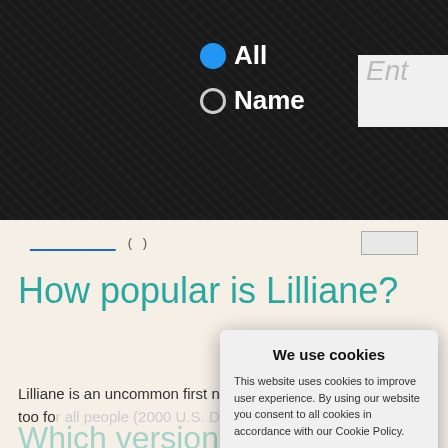All  Name  Ent[er]
How popular is Lilliane?
Lilliane is an uncommon first name for too for all people (2000 U.S. DEMOGRAPHIC
Which version is better?
We use cookies

This website uses cookies to improve user experience. By using our website you consent to all cookies in accordance with our Cookie Policy.

Yes I agree    I disagree

Read more

Free cookie consent by cookie-script.com